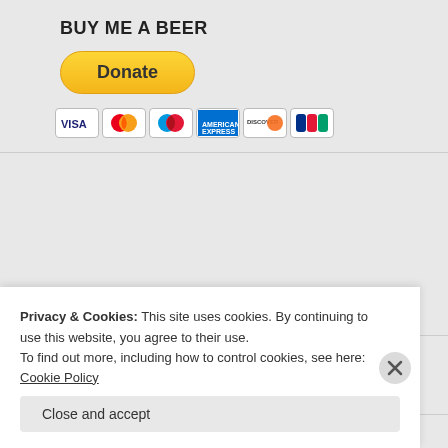BUY ME A BEER
[Figure (other): PayPal Donate button with payment card icons (Visa, Mastercard, Maestro, American Express, Discover, JCB)]
[Figure (other): Search input field with placeholder text 'Search ...']
RECENT POSTS
Privacy & Cookies: This site uses cookies. By continuing to use this website, you agree to their use.
To find out more, including how to control cookies, see here: Cookie Policy
Close and accept